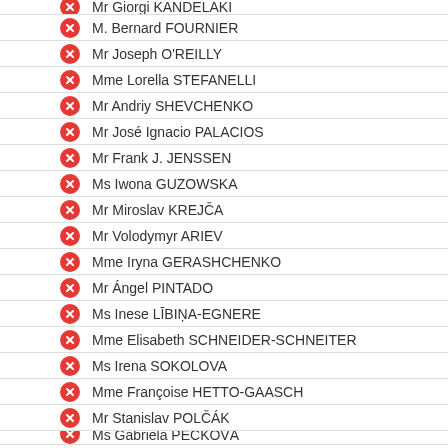Mr Giorgi KANDELAKI (partial, top cut)
M. Bernard FOURNIER
Mr Joseph O'REILLY
Mme Lorella STEFANELLI
Mr Andriy SHEVCHENKO
Mr José Ignacio PALACIOS
Mr Frank J. JENSSEN
Ms Iwona GUZOWSKA
Mr Miroslav KREJČA
Mr Volodymyr ARIEV
Mme Iryna GERASHCHENKO
Mr Ángel PINTADO
Ms Inese LĪBIŅA-EGNERE
Mme Elisabeth SCHNEIDER-SCHNEITER
Ms Irena SOKOLOVA
Mme Françoise HETTO-GAASCH
Mr Stanislav POLČÁK
Ms Gabriela PECKOVÁ (partial, bottom cut)